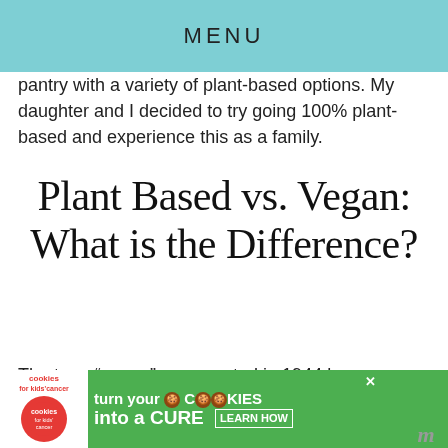MENU
pantry with a variety of plant-based options. My daughter and I decided to try going 100% plant-based and experience this as a family.
Plant Based vs. Vegan: What is the Difference?
The term “vegan” was created in 1944 by Donald Watson, an English animal rights advocate and founder of The Vegan Society. A vegan is a person who avoids using anim for ethical reasons. T. Colin Campbell, a bi...ct m...
[Figure (other): Advertisement banner: Cookies for Kids Cancer - turn your COOKIES into a CURE LEARN HOW]